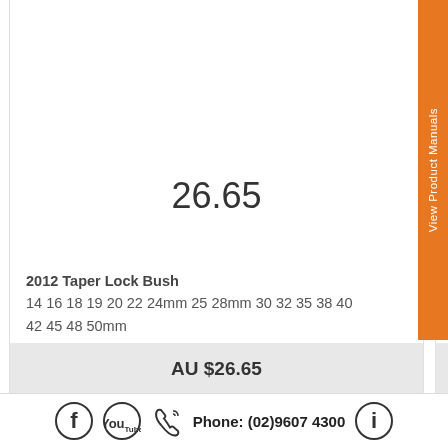26.65
2012 Taper Lock Bush 14 16 18 19 20 22 24mm 25 28mm 30 32 35 38 40 42 45 48 50mm
AU $26.65
18.00
1610 Taper Lock Bush 14mm 16 18 19mm 20 22mm 24mm 25 28mm 30 32 35 38 40 42mm
AU $18.00
View Product Manuals
Phone: (02)9607 4300